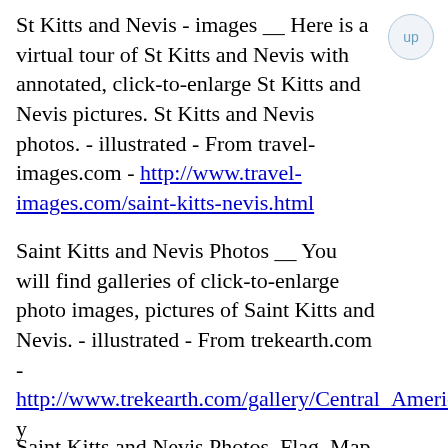St Kitts and Nevis - images __ Here is a virtual tour of St Kitts and Nevis with annotated, click-to-enlarge St Kitts and Nevis pictures. St Kitts and Nevis photos. - illustrated - From travel-images.com - http://www.travel-images.com/saint-kitts-nevis.html
Saint Kitts and Nevis Photos __ You will find galleries of click-to-enlarge photo images, pictures of Saint Kitts and Nevis. - illustrated - From trekearth.com - http://www.trekearth.com/gallery/Central_America/Saint_Kitts_and_Nevis/
Saint Kitts and Nevis Photos, Flag, Map and Travel Information __ You will find several galleries of pictures as well as an 'atlas' style